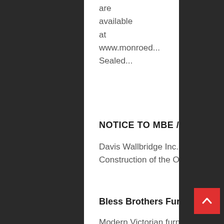are available at www.monroed... Sealed... [R... mo...
NOTICE TO MBE / WBE BIDDERS
Davis Wallbridge Inc. is seeking M/WBE Contractors and Suppliers for the Construction of the Onondaga County West Genesee Street Green...
[Read more]
Bless Brothers Furniture
Modern Victorian furniture elegantly adds visual appeal. For high-quality and